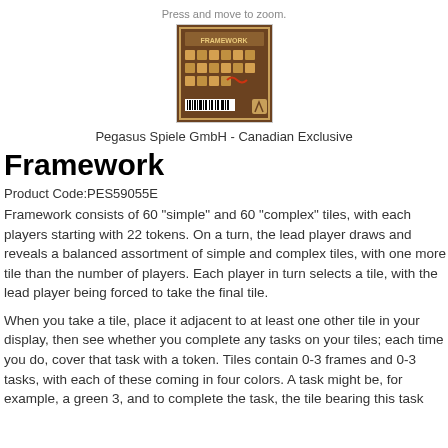Press and move to zoom.
[Figure (photo): Back cover of the Framework board game box by Pegasus Spiele GmbH, showing tile components and game layout on a brown/gold background.]
Pegasus Spiele GmbH - Canadian Exclusive
Framework
Product Code:PES59055E
Framework consists of 60 "simple" and 60 "complex" tiles, with each players starting with 22 tokens. On a turn, the lead player draws and reveals a balanced assortment of simple and complex tiles, with one more tile than the number of players. Each player in turn selects a tile, with the lead player being forced to take the final tile.
When you take a tile, place it adjacent to at least one other tile in your display, then see whether you complete any tasks on your tiles; each time you do, cover that task with a token. Tiles contain 0-3 frames and 0-3 tasks, with each of these coming in four colors. A task might be, for example, a green 3, and to complete the task, the tile bearing this task